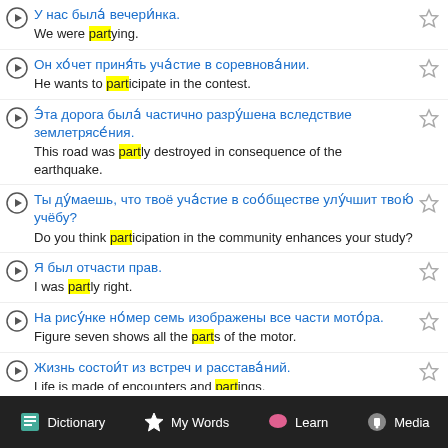У нас была́ вечери́нка. | We were partying.
Он хо́чет приня́ть уча́стие в соревнова́нии. | He wants to participate in the contest.
Э́та дорога была́ частично разру́шена вследствие землетрясе́ния. | This road was partly destroyed in consequence of the earthquake.
Ты ду́маешь, что твоё уча́стие в соо́бществе улу́чшит твою́ учёбу? | Do you think participation in the community enhances your study?
Я был отчасти прав. | I was partly right.
На рису́нке но́мер семь изображены все части мото́ра. | Figure seven shows all the parts of the motor.
Жизнь состои́т из встреч и расстава́ний. | Life is made of encounters and partings.
Dictionary | My Words | Learn | Media